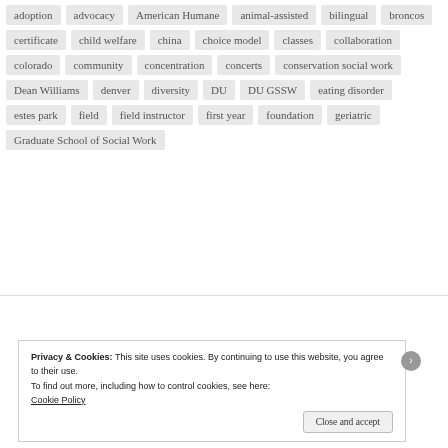adoption
advocacy
American Humane
animal-assisted
bilingual
broncos
certificate
child welfare
china
choice model
classes
collaboration
colorado
community
concentration
concerts
conservation social work
Dean Williams
denver
diversity
DU
DU GSSW
eating disorder
estes park
field
field instructor
first year
foundation
geriatric
Graduate School of Social Work
Privacy & Cookies: This site uses cookies. By continuing to use this website, you agree to their use.
To find out more, including how to control cookies, see here:
Cookie Policy
Close and accept